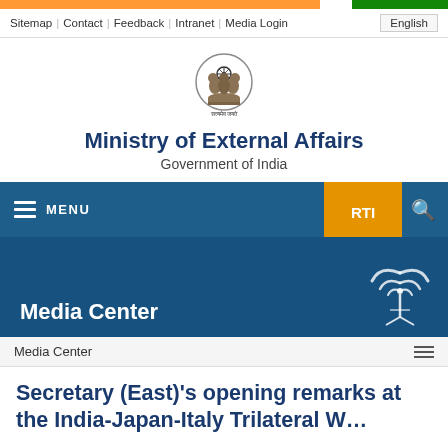Sitemap | Contact | Feedback | Intranet | Media Login | English
[Figure (logo): Ashoka Pillar emblem of India with Devanagari text 'Satyamev Jayate']
Ministry of External Affairs
Government of India
MENU
RTI
Media Center
Media Center
Secretary (East)'s opening remarks at the India-Japan-Italy Trilateral Webinar on Indo-Pacific (Jan 17...